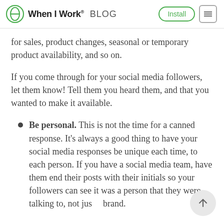When I Work BLOG
for sales, product changes, seasonal or temporary product availability, and so on.
If you come through for your social media followers, let them know! Tell them you heard them, and that you wanted to make it available.
Be personal. This is not the time for a canned response. It's always a good thing to have your social media responses be unique each time, to each person. If you have a social media team, have them end their posts with their initials so your followers can see it was a person that they were talking to, not just a brand.